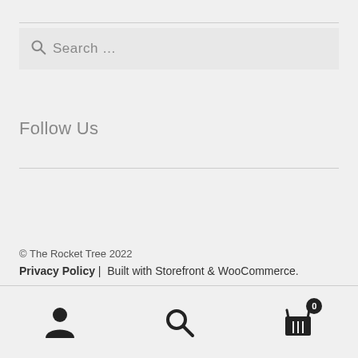Search ...
Follow Us
© The Rocket Tree 2022
Privacy Policy | Built with Storefront & WooCommerce.
[Figure (infographic): Bottom navigation bar with three icons: user/account icon, search icon, and shopping cart icon with badge showing 0]